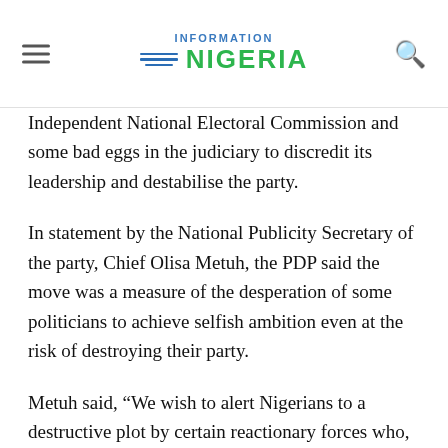Information Nigeria
Independent National Electoral Commission and some bad eggs in the judiciary to discredit its leadership and destabilise the party.
In statement by the National Publicity Secretary of the party, Chief Olisa Metuh, the PDP said the move was a measure of the desperation of some politicians to achieve selfish ambition even at the risk of destroying their party.
Metuh said, “We wish to alert Nigerians to a destructive plot by certain reactionary forces who, working hand in glove with collaborators in the INEC, have manufactured a spurious report, specifically aimed at destroying the credibility of the party’s 2012 National Convention which brought in the current National Working Committee and using judicial